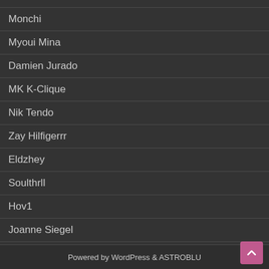Monchi
Myoui Mina
Damien Jurado
MK K-Clique
Nik Tendo
Zay Hilfigerrr
Eldzhey
Soulthrll
Hov1
Joanne Siegel
Bokoesam
Powered by WordPress & ASTROBLU